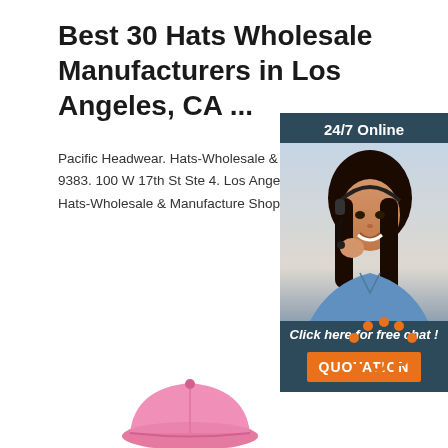Best 30 Hats Wholesale Manufacturers in Los Angeles, CA ...
Pacific Headwear. Hats-Wholesale & Manufacturers. (213) 742-9383. 100 W 17th St Ste 4. Los Angeles. 9. Wynn Headwear. Hats-Wholesale & Manufacture Shops.
[Figure (other): Orange 'Get Price' button]
[Figure (other): Advertisement panel with '24/7 Online' heading, photo of woman with headset, 'Click here for free chat!' text, and orange QUOTATION button on dark blue background]
[Figure (other): Orange 'TOP' icon with decorative dots in an arc above the letters]
[Figure (other): Pink baseball cap partially visible at bottom of page]